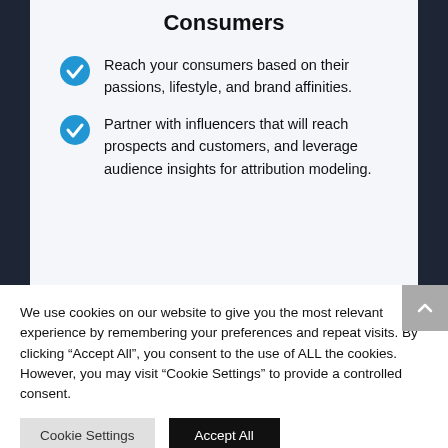Consumers
Reach your consumers based on their passions, lifestyle, and brand affinities.
Partner with influencers that will reach prospects and customers, and leverage audience insights for attribution modeling.
We use cookies on our website to give you the most relevant experience by remembering your preferences and repeat visits. By clicking “Accept All”, you consent to the use of ALL the cookies. However, you may visit “Cookie Settings” to provide a controlled consent.